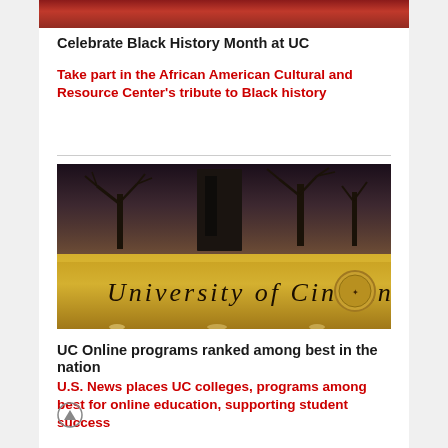[Figure (photo): Top portion of an image showing people in red garments, partially cropped]
Celebrate Black History Month at UC
Take part in the African American Cultural and Resource Center's tribute to Black history
[Figure (photo): University of Cincinnati entrance sign illuminated at dusk with bare trees in background]
UC Online programs ranked among best in the nation
U.S. News places UC colleges, programs among best for online education, supporting student success